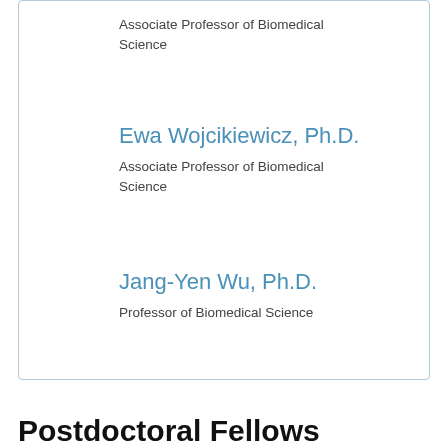Associate Professor of Biomedical Science
Ewa Wojcikiewicz, Ph.D.
Associate Professor of Biomedical Science
Jang-Yen Wu, Ph.D.
Professor of Biomedical Science
Postdoctoral Fellows